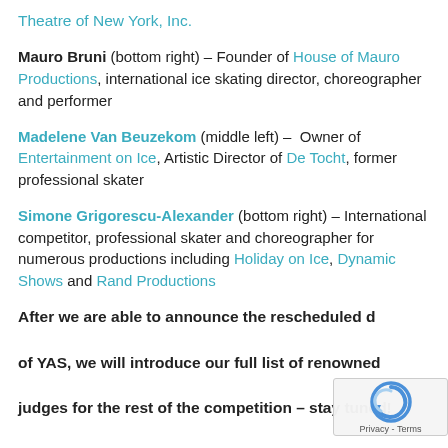Theatre of New York, Inc.
Mauro Bruni (bottom right) – Founder of House of Mauro Productions, international ice skating director, choreographer and performer
Madelene Van Beuzekom (middle left) – Owner of Entertainment on Ice, Artistic Director of De Tocht, former professional skater
Simone Grigorescu-Alexander (bottom right) – International competitor, professional skater and choreographer for numerous productions including Holiday on Ice, Dynamic Shows and Rand Productions
After we are able to announce the rescheduled date of YAS, we will introduce our full list of renowned judges for the rest of the competition – stay tuned!